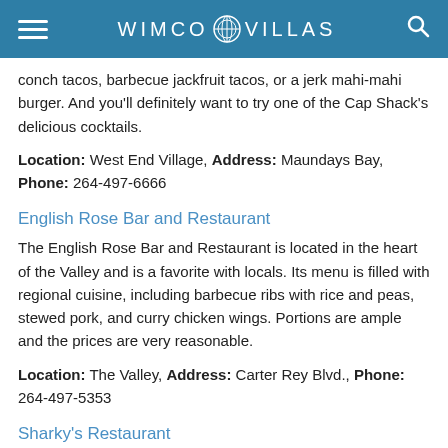WIMCO VILLAS
conch tacos, barbecue jackfruit tacos, or a jerk mahi-mahi burger. And you'll definitely want to try one of the Cap Shack's delicious cocktails.
Location: West End Village, Address: Maundays Bay, Phone: 264-497-6666
English Rose Bar and Restaurant
The English Rose Bar and Restaurant is located in the heart of the Valley and is a favorite with locals. Its menu is filled with regional cuisine, including barbecue ribs with rice and peas, stewed pork, and curry chicken wings. Portions are ample and the prices are very reasonable.
Location: The Valley, Address: Carter Rey Blvd., Phone: 264-497-5353
Sharky's Restaurant
Located in the West End, Sharky's Restaurant serves local flavors, including its popular Anguilla lobster cakes…